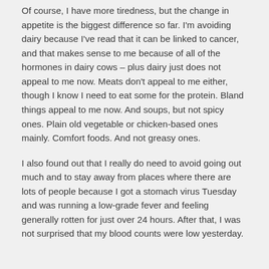Of course, I have more tiredness, but the change in appetite is the biggest difference so far. I'm avoiding dairy because I've read that it can be linked to cancer, and that makes sense to me because of all of the hormones in dairy cows – plus dairy just does not appeal to me now. Meats don't appeal to me either, though I know I need to eat some for the protein. Bland things appeal to me now. And soups, but not spicy ones. Plain old vegetable or chicken-based ones mainly. Comfort foods. And not greasy ones.
I also found out that I really do need to avoid going out much and to stay away from places where there are lots of people because I got a stomach virus Tuesday and was running a low-grade fever and feeling generally rotten for just over 24 hours. After that, I was not surprised that my blood counts were low yesterday.